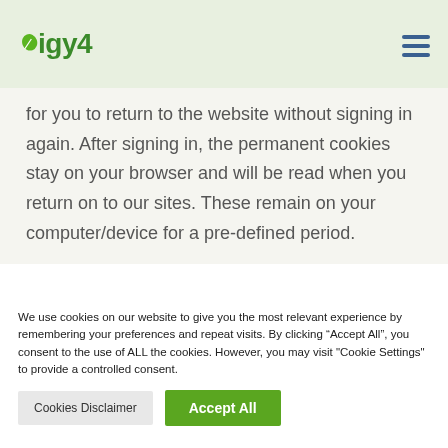Digy4
for you to return to the website without signing in again. After signing in, the permanent cookies stay on your browser and will be read when you return on to our sites. These remain on your computer/device for a pre-defined period.
We use cookies on our website to give you the most relevant experience by remembering your preferences and repeat visits. By clicking “Accept All”, you consent to the use of ALL the cookies. However, you may visit "Cookie Settings" to provide a controlled consent.